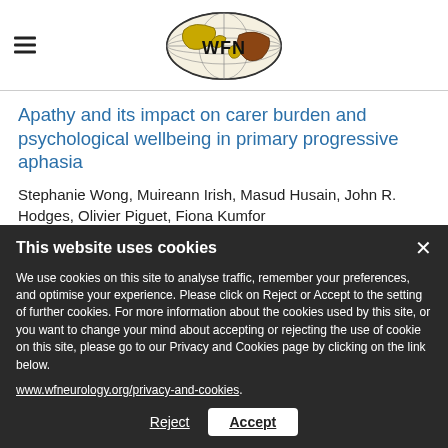[Figure (logo): WFN (World Federation of Neurology) logo — globe graphic with WFN text in bold]
Apathy and its impact on carer burden and psychological wellbeing in primary progressive aphasia
Stephanie Wong, Muireann Irish, Masud Husain, John R. Hodges, Olivier Piguet, Fiona Kumfor
DOI: https://doi.org/10.1016/j.jns.2020.117007
This website uses cookies
We use cookies on this site to analyse traffic, remember your preferences, and optimise your experience. Please click on Reject or Accept to the setting of further cookies. For more information about the cookies used by this site, or you want to change your mind about accepting or rejecting the use of cookie on this site, please go to our Privacy and Cookies page by clicking on the link below.
www.wfneurology.org/privacy-and-cookies.